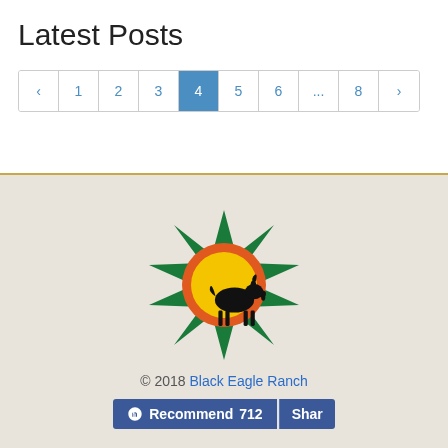Latest Posts
‹ 1 2 3 4 5 6 ... 8 ›
[Figure (logo): Black Eagle Ranch logo: an 8-pointed star shape in green with orange and yellow center circle containing a black silhouette of a goat]
© 2018 Black Eagle Ranch
Recommend 712 | Share